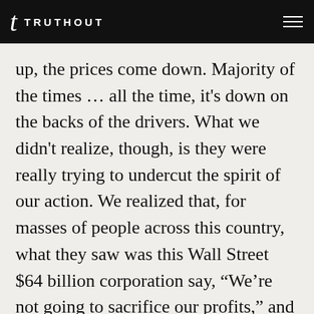TRUTHOUT
up, the prices come down. Majority of the times … all the time, it's down on the backs of the drivers. What we didn't realize, though, is they were really trying to undercut the spirit of our action. We realized that, for masses of people across this country, what they saw was this Wall Street $64 billion corporation say, “We’re not going to sacrifice our profits,” and meanwhile you have all these thousands of workers, low-wage, on the front lines of this bigotry saying, “We’re going to stand up and use our voice for